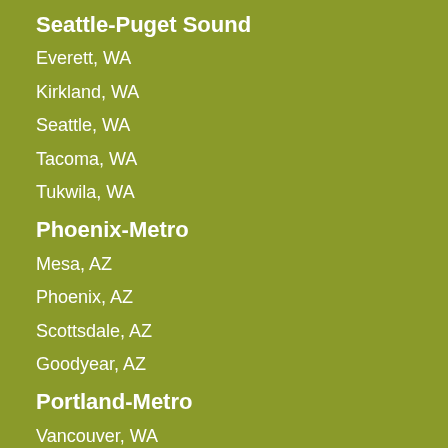Seattle-Puget Sound
Everett, WA
Kirkland, WA
Seattle, WA
Tacoma, WA
Tukwila, WA
Phoenix-Metro
Mesa, AZ
Phoenix, AZ
Scottsdale, AZ
Goodyear, AZ
Portland-Metro
Vancouver, WA
Beaverton, OR
Clackamas, OR
Denver-Metro
Aurora-Denver, CO
Broomfield, CO